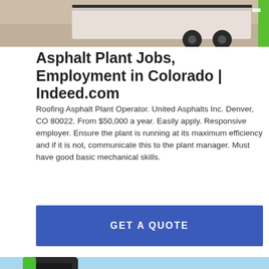[Figure (photo): Partial view of a trailer or equipment on a sandy/gravel surface, with a green accent on the right edge. Top portion of the page image.]
Asphalt Plant Jobs, Employment in Colorado | Indeed.com
Roofing Asphalt Plant Operator. United Asphalts Inc. Denver, CO 80022. From $50,000 a year. Easily apply. Responsive employer. Ensure the plant is running at its maximum efficiency and if it is not, communicate this to the plant manager. Must have good basic mechanical skills.
[Figure (other): Blue button labeled GET A QUOTE]
[Figure (photo): Photo of green concrete mixer / construction equipment against a blue sky background, with a tractor cab visible on the right.]
Send Message
Inquiry Online